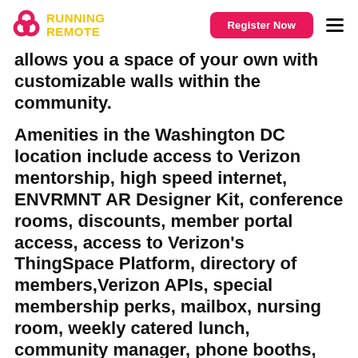Running Remote | Register Now
allows you a space of your own with customizable walls within the community.
Amenities in the Washington DC location include access to Verizon mentorship, high speed internet, ENVRMNT AR Designer Kit, conference rooms, discounts, member portal access, access to Verizon's ThingSpace Platform, directory of members,Verizon APIs, special membership perks, mailbox, nursing room, weekly catered lunch, community manager, phone booths, business development services, printing and office supplies, cleaning service, unlimited coffee, tea, and cereal, and access to events.